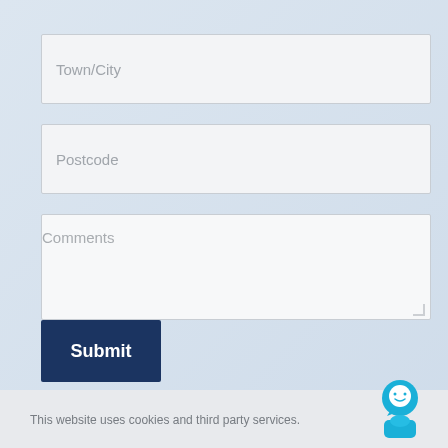[Figure (screenshot): Form input field with placeholder text 'Town/City']
[Figure (screenshot): Form input field with placeholder text 'Postcode']
[Figure (screenshot): Form textarea with placeholder text 'Comments' and resize handle]
[Figure (screenshot): Dark navy blue submit button with white text 'Submit']
This website uses cookies and third party services.